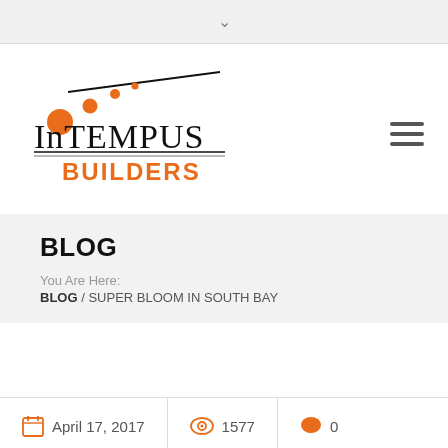∨
[Figure (logo): Intempus Builders logo with orange dots and diagonal line above the company name]
BLOG
You Are Here:
BLOG / SUPER BLOOM IN SOUTH BAY
April 17, 2017   1577   0